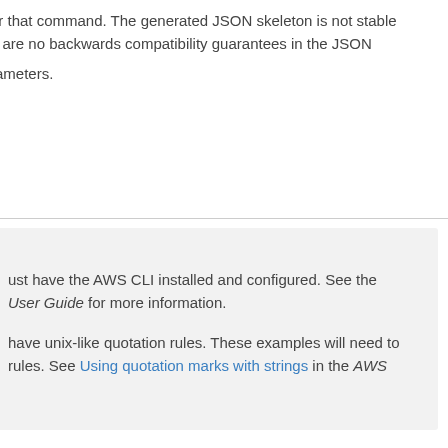or that command. The generated JSON skeleton is not stable and there are no backwards compatibility guarantees in the JSON
rameters.
ust have the AWS CLI installed and configured. See the User Guide for more information.
have unix-like quotation rules. These examples will need to rules. See Using quotation marks with strings in the AWS